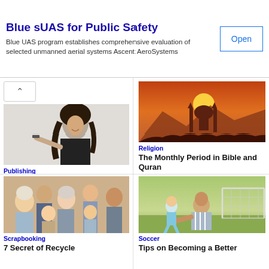Blue sUAS for Public Safety
Blue UAS program establishes comprehensive evaluation of selected unmanned aerial systems Ascent AeroSystems
[Figure (photo): Woman with dark hair pointing, black outfit, light background - Publishing article image]
Publishing
What Does It Mean To Publish?
[Figure (photo): Mosque silhouette against orange sunset sky - Religion article image]
Religion
The Monthly Period in Bible and Quran
[Figure (photo): Multi-generational family smiling together indoors - Scrapbooking article image]
Scrapbooking
7 Secret of Recycle
[Figure (photo): Father and young child on soccer field outdoors - Soccer article image]
Soccer
Tips on Becoming a Better